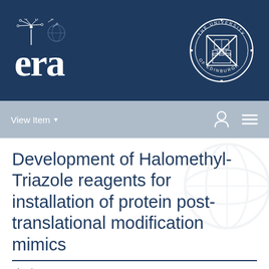[Figure (logo): ERA (Edinburgh Research Archive) logo with dandelion motif on dark navy background, and University of Edinburgh crest on the right]
View Item ▾
Development of Halomethyl-Triazole reagents for installation of protein post-translational modification mimics
View/Open
🔒 Brewster2018.pdf (8.417Mb)